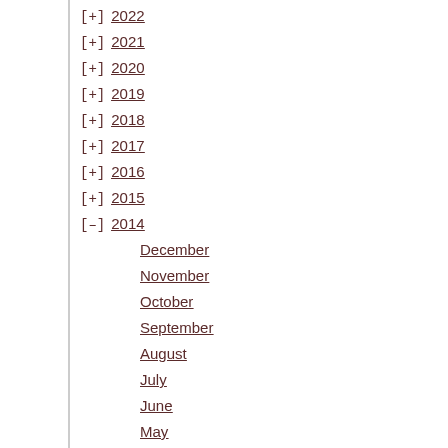[+] 2022
[+] 2021
[+] 2020
[+] 2019
[+] 2018
[+] 2017
[+] 2016
[+] 2015
[-] 2014
December
November
October
September
August
July
June
May